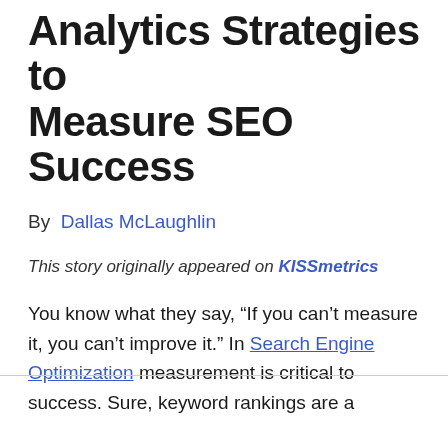Analytics Strategies to Measure SEO Success
By  Dallas McLaughlin
This story originally appeared on KISSmetrics
You know what they say, “If you can’t measure it, you can’t improve it.” In Search Engine Optimization measurement is critical to success. Sure, keyword rankings are a